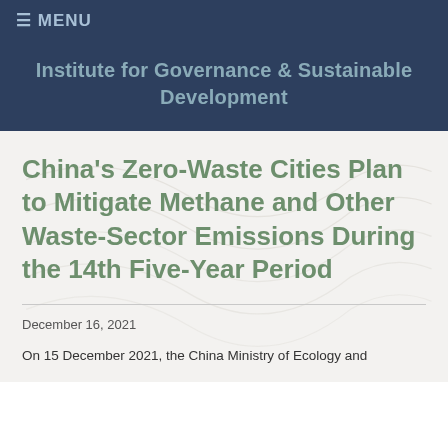☰ MENU
Institute for Governance & Sustainable Development
China's Zero-Waste Cities Plan to Mitigate Methane and Other Waste-Sector Emissions During the 14th Five-Year Period
December 16, 2021
On 15 December 2021, the China Ministry of Ecology and